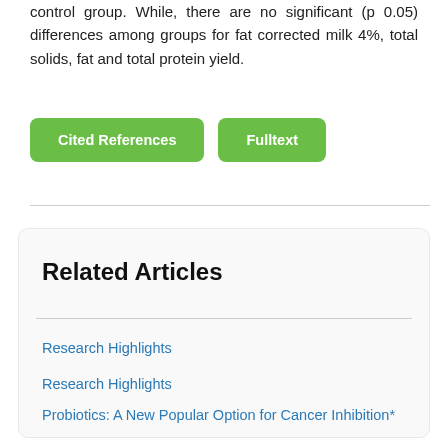control group. While, there are no significant (p 0.05) differences among groups for fat corrected milk 4%, total solids, fat and total protein yield.
Cited References
Fulltext
Related Articles
Research Highlights
Research Highlights
Probiotics: A New Popular Option for Cancer Inhibition*